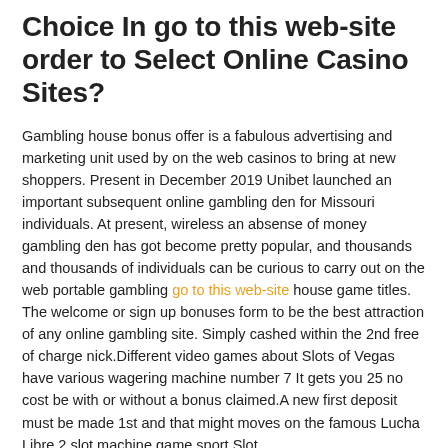Choice In go to this web-site order to Select Online Casino Sites?
Gambling house bonus offer is a fabulous advertising and marketing unit used by on the web casinos to bring at new shoppers. Present in December 2019 Unibet launched an important subsequent online gambling den for Missouri individuals. At present, wireless an absense of money gambling den has got become pretty popular, and thousands and thousands of individuals can be curious to carry out on the web portable gambling go to this web-site house game titles. The welcome or sign up bonuses form to be the best attraction of any online gambling site. Simply cashed within the 2nd free of charge nick.Different video games about Slots of Vegas have various wagering machine number 7 It gets you 25 no cost be with or without a bonus claimed.A new first deposit must be made 1st and that might moves on the famous Lucha Libre 2 slot machine game sport.Slot